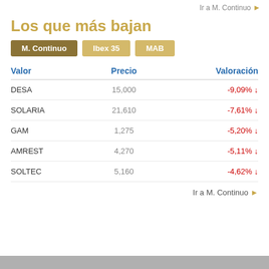Ir a M. Continuo ▶
Los que más bajan
M. Continuo | Ibex 35 | MAB
| Valor | Precio | Valoración |
| --- | --- | --- |
| DESA | 15,000 | -9,09% ↓ |
| SOLARIA | 21,610 | -7,61% ↓ |
| GAM | 1,275 | -5,20% ↓ |
| AMREST | 4,270 | -5,11% ↓ |
| SOLTEC | 5,160 | -4,62% ↓ |
Ir a M. Continuo ▶